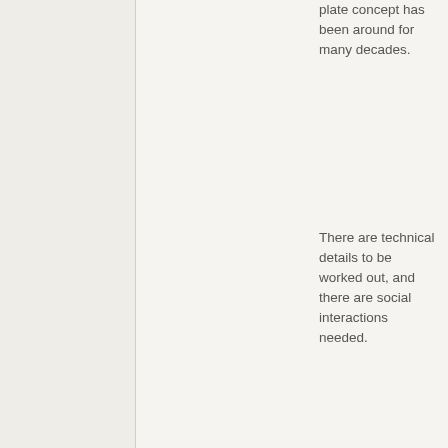plate concept has been around for many decades.
There are technical details to be worked out, and there are social interactions needed.
The social interactions are far more challenging than the technical ones.
However, the benefits of an